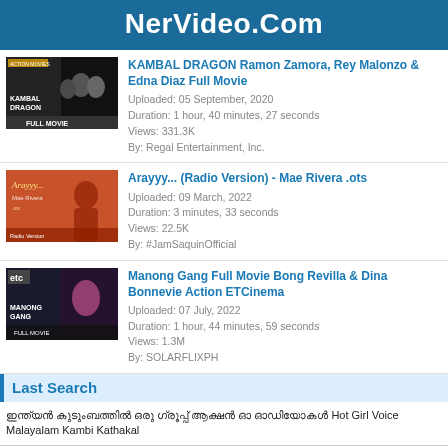NerVideo.Com
[Figure (photo): Thumbnail for Kambal Dragon Full Movie]
KAMBAL DRAGON Ramon Zamora, Rey Malonzo & Edna Diaz Full Movie
Uploaded: 05 September, 2020
Duration: 1 hour, 40 minutes, 27 seconds
Views: 331.3K
By: Regal Entertainment, Inc.
[Figure (photo): Thumbnail for Arayyy Radio Version Mae Rivera]
Arayyy... (Radio Version) - Mae Rivera .ots
Uploaded: 09 March, 2022
Duration: 3 minutes, 33 seconds
Views: 22.5K
By: #JamSaquinOfficial
[Figure (photo): Thumbnail for Manong Gang Full Movie]
Manong Gang Full Movie Bong Revilla & Dina Bonnevie Action ETCinema
Uploaded: 07 July, 2022
Duration: 1 hour, 44 minutes, 59 seconds
Views: 1.3M
By: SOLARFLIXPH
Last Search
ഇന്ത്യൻ കുടുംബത്തിൽ ഒരു ഗ്രൂപ്പ് ആക്ഷൻ ഓ ഓഡിയോകൾ Hot Girl Voice Malayalam Kambi Kathakal
ഇന്ത്യൻ കുടുംബത്തിൽ ഒരു ഗ്രൂപ്പ് ആക്ഷൻ ഓ ഓഡിയോകൾ Hot Girl Voice Malayalam Kambi Kathakal